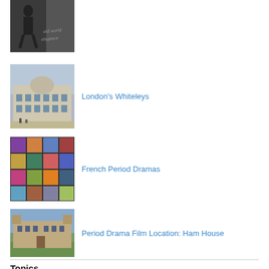[Figure (photo): Black and white photo with cursive text overlay (old world elegance)]
[Figure (photo): Photo of London's Whiteleys building exterior]
London's Whiteleys
[Figure (photo): Collage of French Period Drama movie posters]
French Period Dramas
[Figure (photo): Photo of Ham House, a period drama film location]
Period Drama Film Location: Ham House
Topics